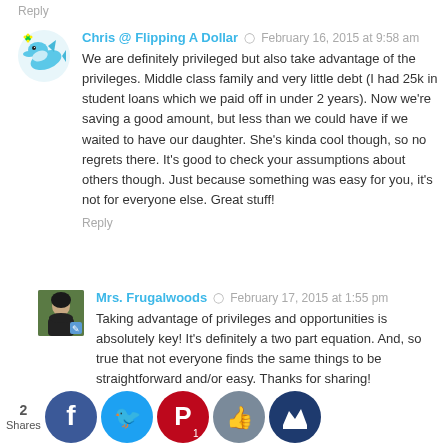Reply
Chris @ Flipping A Dollar  ·  February 16, 2015 at 9:58 am
We are definitely privileged but also take advantage of the privileges. Middle class family and very little debt (I had 25k in student loans which we paid off in under 2 years). Now we're saving a good amount, but less than we could have if we waited to have our daughter. She's kinda cool though, so no regrets there. It's good to check your assumptions about others though. Just because something was easy for you, it's not for everyone else. Great stuff!
Reply
Mrs. Frugalwoods  ·  February 17, 2015 at 1:55 pm
Taking advantage of privileges and opportunities is absolutely key! It's definitely a two part equation. And, so true that not everyone finds the same things to be straightforward and/or easy. Thanks for sharing!
Reply
2 Shares